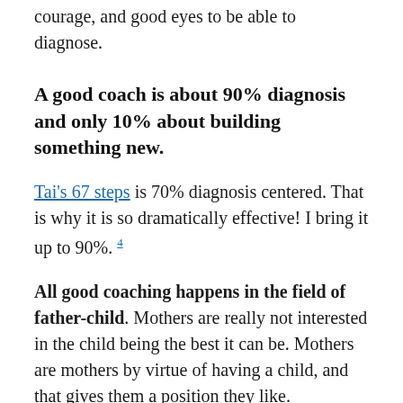courage, and good eyes to be able to diagnose.
A good coach is about 90% diagnosis and only 10% about building something new.
Tai's 67 steps is 70% diagnosis centered. That is why it is so dramatically effective! I bring it up to 90%. 4
All good coaching happens in the field of father-child. Mothers are really not interested in the child being the best it can be. Mothers are mothers by virtue of having a child, and that gives them a position they like.
However, there...